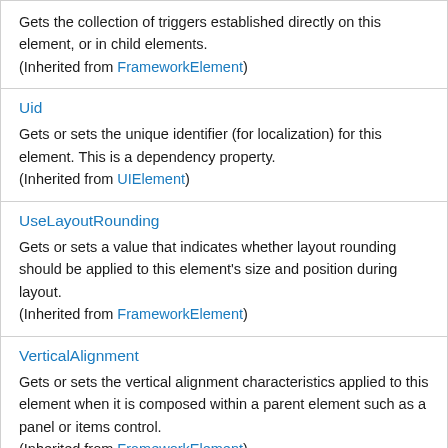Gets the collection of triggers established directly on this element, or in child elements. (Inherited from FrameworkElement)
Uid
Gets or sets the unique identifier (for localization) for this element. This is a dependency property. (Inherited from UIElement)
UseLayoutRounding
Gets or sets a value that indicates whether layout rounding should be applied to this element's size and position during layout. (Inherited from FrameworkElement)
VerticalAlignment
Gets or sets the vertical alignment characteristics applied to this element when it is composed within a parent element such as a panel or items control. (Inherited from FrameworkElement)